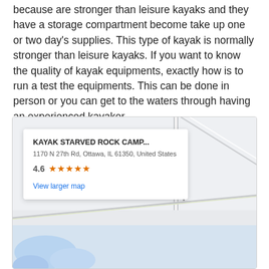because are stronger than leisure kayaks and they have a storage compartment become take up one or two day's supplies. This type of kayak is normally stronger than leisure kayaks. If you want to know the quality of kayak equipments, exactly how is to run a test the equipments. This can be done in person or you can get to the waters through having an experienced kayaker.
[Figure (map): Google Maps embed showing the location of Kayak Starved Rock Camp at 1170 N 27th Rd, Ottawa, IL 61350, United States. Rating: 4.6 stars. Includes a 'View larger map' link. Map shows roads and a river/water body in the lower portion.]